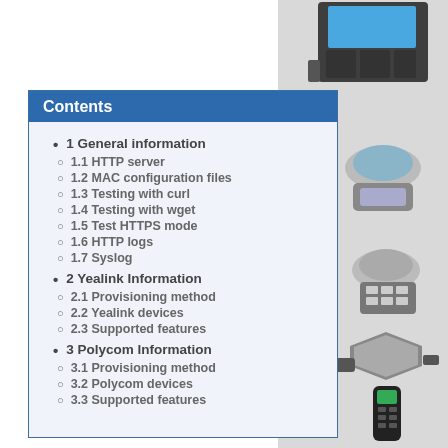[Figure (photo): Right side panel showing multiple Yealink/Polycom IP phone and conference phone devices on a light gray background]
Contents
1 General information
1.1 HTTP server
1.2 MAC configuration files
1.3 Testing with curl
1.4 Testing with wget
1.5 Test HTTPS mode
1.6 HTTP logs
1.7 Syslog
2 Yealink Information
2.1 Provisioning method
2.2 Yealink devices
2.3 Supported features
3 Polycom Information
3.1 Provisioning method
3.2 Polycom devices
3.3 Supported features